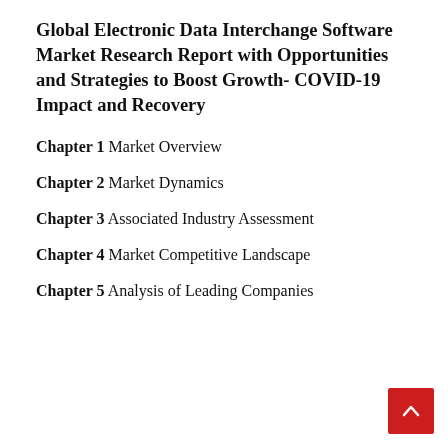Global Electronic Data Interchange Software Market Research Report with Opportunities and Strategies to Boost Growth- COVID-19 Impact and Recovery
Chapter 1 Market Overview
Chapter 2 Market Dynamics
Chapter 3 Associated Industry Assessment
Chapter 4 Market Competitive Landscape
Chapter 5 Analysis of Leading Companies